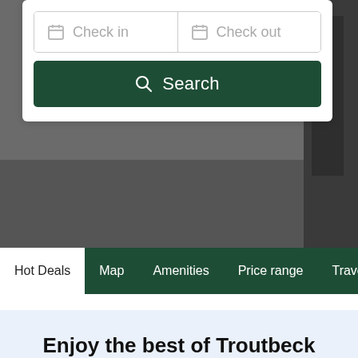[Figure (screenshot): Top photo background area showing a dark outdoor scene, partially visible behind a white search card UI with Check in / Check out date fields and a green Search button.]
Check in
Check out
Search
Hot Deals | Map | Amenities | Price range | Travel
Enjoy the best of Troutbeck Bridge
An complete travel guide for Troutbeck Bridge. All things-to-dos, restaurant, barss, and accommodations.